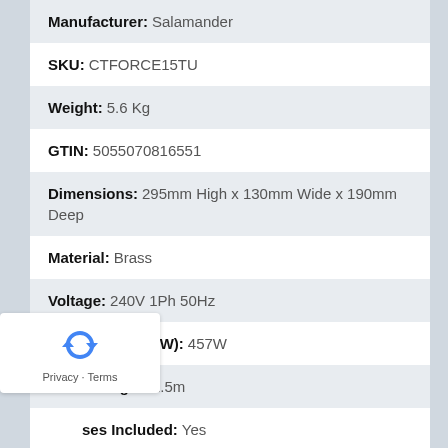| Field | Value |
| --- | --- |
| Manufacturer: | Salamander |
| SKU: | CTFORCE15TU |
| Weight: | 5.6 Kg |
| GTIN: | 5055070816551 |
| Dimensions: | 295mm High x 130mm Wide x 190mm Deep |
| Material: | Brass |
| Voltage: | 240V 1Ph 50Hz |
| Motor Size (kW/W): | 457W |
| Cable Length: | 1.5m |
| ses Included: | Yes |
| Bar Rating: | 1.5 Bar |